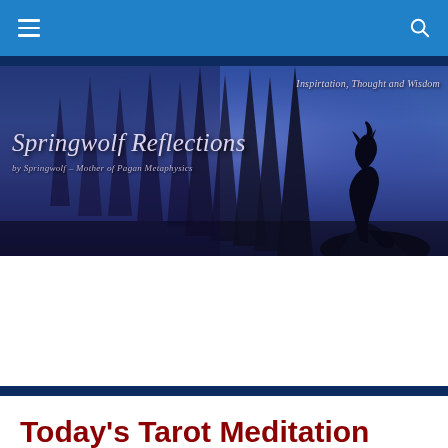Navigation bar with hamburger menu and search icon
[Figure (illustration): Springwolf Reflections website banner: dark blue-purple forest background with tall conifer tree silhouettes and a howling wolf silhouette on a rock at right. Text reads 'Springwolf Reflections' in italic script, 'by Springwolf - Author of Pagan Metaphysics' in smaller italic script, and 'Inspirtation, Thought and Wisdom' in top right corner.]
Today's Tarot Meditation Drawing: Ten of Pentacles – Inverted